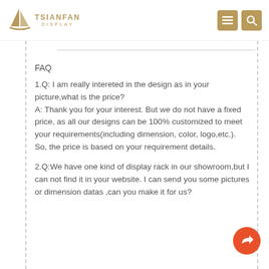TSIANFAN DISPLAY
FAQ
1.Q: I am really intereted in the design as in your picture,what is the price?
A: Thank you for your interest. But we do not have a fixed price, as all our designs can be 100% customized to meet your requirements(including dimension, color, logo,etc.).
So, the price is based on your requirement details.
2.Q:We have one kind of display rack in our showroom,but I can not find it in your website. I can send you some pictures or dimension datas ,can you make it for us?